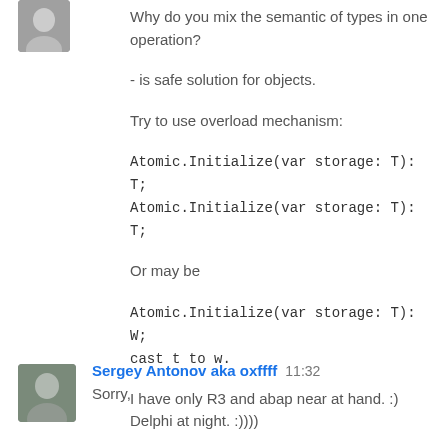[Figure (photo): Small avatar thumbnail of a person at top left]
Why do you mix the semantic of types in one operation?
- is safe solution for objects.
Try to use overload mechanism:
Atomic.Initialize(var storage: T): T;
Atomic.Initialize(var storage: T): T;
Or may be
Atomic.Initialize(var storage: T): W;
cast t to w.
I have only R3 and abap near at hand. :)
Delphi at night. :))))
Reply
[Figure (photo): Avatar thumbnail of Sergey Antonov aka oxffff]
Sergey Antonov aka oxffff  11:32
Sorry,